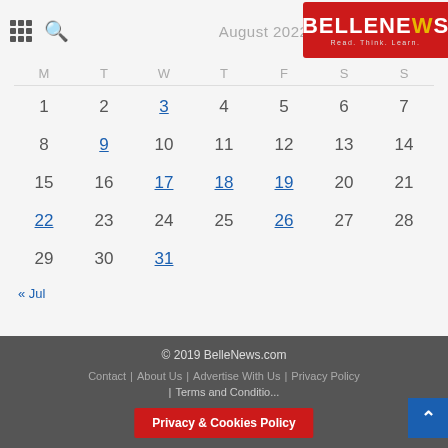August 2022
[Figure (logo): BelleNews logo: red banner with BELLE in white bold and NEWS in white bold, tagline 'Read. Think. Learn.']
| M | T | W | T | F | S | S |
| --- | --- | --- | --- | --- | --- | --- |
| 1 | 2 | 3 | 4 | 5 | 6 | 7 |
| 8 | 9 | 10 | 11 | 12 | 13 | 14 |
| 15 | 16 | 17 | 18 | 19 | 20 | 21 |
| 22 | 23 | 24 | 25 | 26 | 27 | 28 |
| 29 | 30 | 31 |  |  |  |  |
« Jul
© 2019 BelleNews.com | Contact | About Us | Advertise With Us | Privacy Policy | Terms and Conditions
Privacy & Cookies Policy